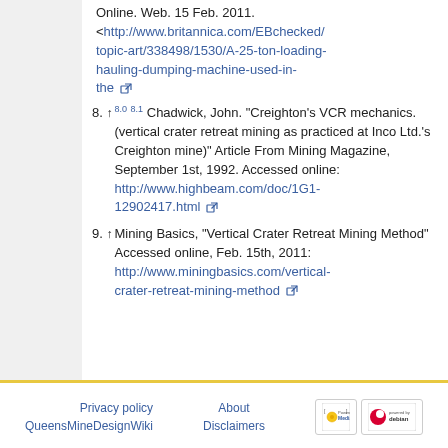Online. Web. 15 Feb. 2011. <http://www.britannica.com/EBchecked/topic-art/338498/1530/A-25-ton-loading-hauling-dumping-machine-used-in-the [external link]
8. ↑ 8.0 8.1 Chadwick, John. "Creighton's VCR mechanics. (vertical crater retreat mining as practiced at Inco Ltd.'s Creighton mine)" Article From Mining Magazine, September 1st, 1992. Accessed online: http://www.highbeam.com/doc/1G1-12902417.html [external link]
9. ↑ Mining Basics, "Vertical Crater Retreat Mining Method" Accessed online, Feb. 15th, 2011: http://www.miningbasics.com/vertical-crater-retreat-mining-method [external link]
Privacy policy | QueensMineDesignWiki | About | Disclaimers | Powered by MediaWiki | powered by debian